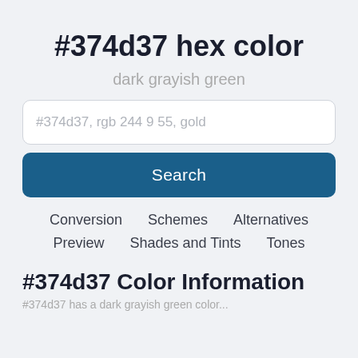#374d37 hex color
dark grayish green
#374d37, rgb 244 9 55, gold
Search
Conversion
Schemes
Alternatives
Preview
Shades and Tints
Tones
#374d37 Color Information
#374d37 has a dark grayish green color...